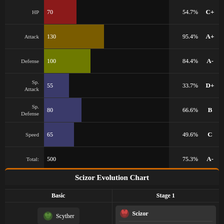| Stat | Value / Bar | Percentile | Grade |
| --- | --- | --- | --- |
| HP | 70 | 54.7% | C+ |
| Attack | 130 | 95.4% | A+ |
| Defense | 100 | 84.4% | A- |
| Sp. Attack | 55 | 33.7% | D+ |
| Sp. Defense | 80 | 66.6% | B |
| Speed | 65 | 49.6% | C |
| Total: | 500 | 75.3% | A- |
Scizor Evolution Chart
Basic
Stage 1
Scyther
Scizor
Evolves when traded While holding Metal Coat